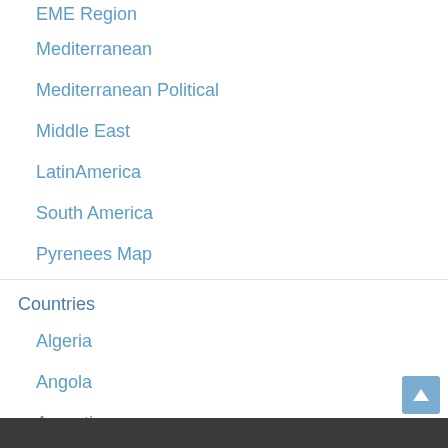EME Region
Mediterranean
Mediterranean Political
Middle East
LatinAmerica
South America
Pyrenees Map
Countries
Algeria
Angola
Argentina
Australia
Belgium